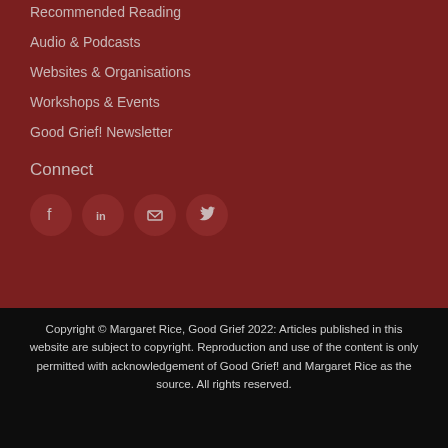Recommended Reading
Audio & Podcasts
Websites & Organisations
Workshops & Events
Good Grief! Newsletter
Connect
[Figure (other): Four circular social media icon buttons: Facebook, LinkedIn, Email/envelope, Twitter]
Copyright © Margaret Rice, Good Grief 2022: Articles published in this website are subject to copyright. Reproduction and use of the content is only permitted with acknowledgement of Good Grief! and Margaret Rice as the source. All rights reserved.